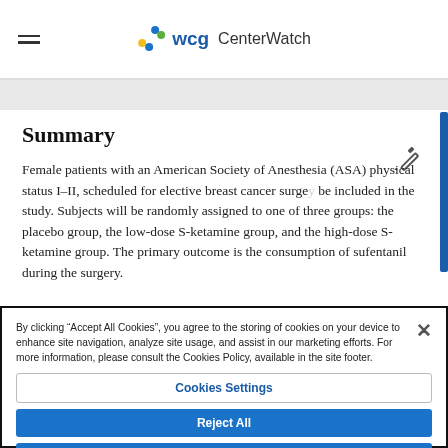WCG CenterWatch
Summary
Female patients with an American Society of Anesthesia (ASA) physical status I–II, scheduled for elective breast cancer surge... be included in the study. Subjects will be randomly assigned to one of three groups: the placebo group, the low-dose S-ketamine group, and the high-dose S-ketamine group. The primary outcome is the consumption of sufentanil during the surgery.
By clicking “Accept All Cookies”, you agree to the storing of cookies on your device to enhance site navigation, analyze site usage, and assist in our marketing efforts. For more information, please consult the Cookies Policy, available in the site footer.
Cookies Settings
Reject All